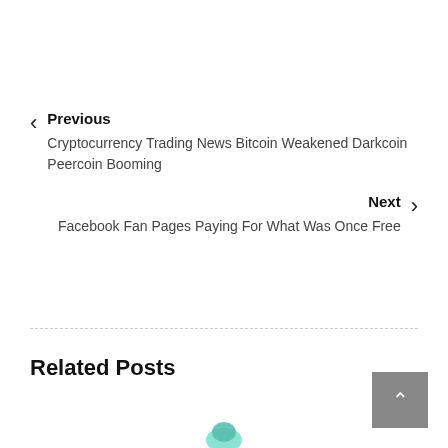Previous
Cryptocurrency Trading News Bitcoin Weakened Darkcoin Peercoin Booming
Next
Facebook Fan Pages Paying For What Was Once Free
Related Posts